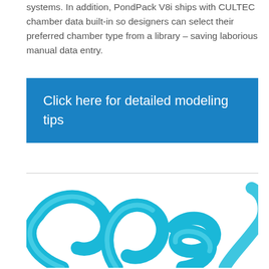systems. In addition, PondPack V8i ships with CULTEC chamber data built-in so designers can select their preferred chamber type from a library – saving laborious manual data entry.
Click here for detailed modeling tips
[Figure (illustration): Partial view of a blue/cyan colored logo or decorative text graphic, showing curved letterforms at the bottom of the page]